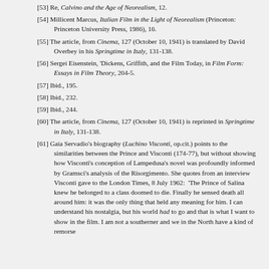[53] Re, Calvino and the Age of Neorealism, 12.
[54] Millicent Marcus, Italian Film in the Light of Neorealism (Princeton: Princeton University Press, 1986), 16.
[55] The article, from Cinema, 127 (October 10, 1941) is translated by David Overbey in his Springtime in Italy, 131-138.
[56] Sergei Eisenstein, 'Dickens, Griffith, and the Film Today, in Film Form: Essays in Film Theory, 204-5.
[57] Ibid., 195.
[58] Ibid., 232.
[59] Ibid., 244.
[60] The article, from Cinema, 127 (October 10, 1941) is reprinted in Springtime in Italy, 131-138.
[61] Gaia Servadio's biography (Luchino Visconti, op.cit.) points to the similarities between the Prince and Visconti (174-77), but without showing how Visconti's conception of Lampedusa's novel was profoundly informed by Gramsci's analysis of the Risorgimento. She quotes from an interview Visconti gave to the London Times, 8 July 1962: 'The Prince of Salina knew he belonged to a class doomed to die. Finally he sensed death all around him: it was the only thing that held any meaning for him. I can understand his nostalgia, but his world had to go and that is what I want to show in the film. I am not a southerner and we in the North have a kind of remorse